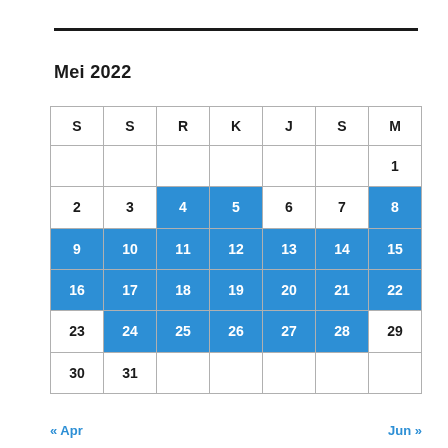Mei 2022
| S | S | R | K | J | S | M |
| --- | --- | --- | --- | --- | --- | --- |
|  |  |  |  |  |  | 1 |
| 2 | 3 | 4 | 5 | 6 | 7 | 8 |
| 9 | 10 | 11 | 12 | 13 | 14 | 15 |
| 16 | 17 | 18 | 19 | 20 | 21 | 22 |
| 23 | 24 | 25 | 26 | 27 | 28 | 29 |
| 30 | 31 |  |  |  |  |  |
« Apr
Jun »